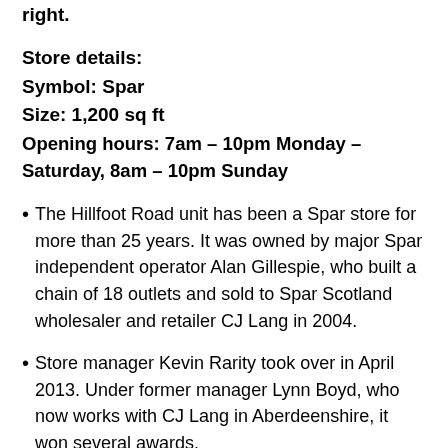right.
Store details:
Symbol: Spar
Size: 1,200 sq ft
Opening hours: 7am – 10pm Monday – Saturday, 8am – 10pm Sunday
The Hillfoot Road unit has been a Spar store for more than 25 years. It was owned by major Spar independent operator Alan Gillespie, who built a chain of 18 outlets and sold to Spar Scotland wholesaler and retailer CJ Lang in 2004.
Store manager Kevin Rarity took over in April 2013. Under former manager Lynn Boyd, who now works with CJ Lang in Aberdeenshire, it won several awards.